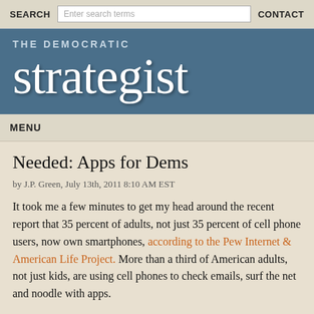SEARCH | Enter search terms | CONTACT
THE DEMOCRATIC strategist
MENU
Needed: Apps for Dems
by J.P. Green, July 13th, 2011 8:10 AM EST
It took me a few minutes to get my head around the recent report that 35 percent of adults, not just 35 percent of cell phone users, now own smartphones, according to the Pew Internet & American Life Project. More than a third of American adults, not just kids, are using cell phones to check emails, surf the net and noodle with apps.